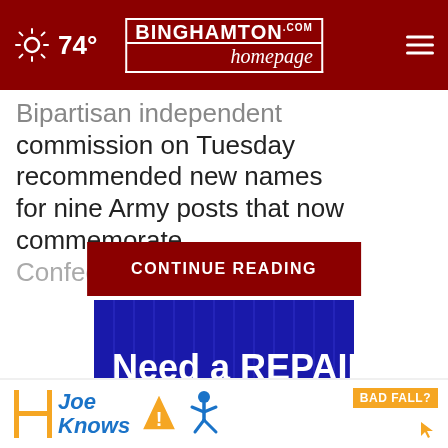74° | Binghamton Homepage
Bipartisan independent commission on Tuesday recommended new names for nine Army posts that now commemorate Confederate o...
CONTINUE READING
[Figure (photo): Advertisement image with blue background and white bold text: Need a REPAIR or NEW System?]
[Figure (photo): Joe Knows advertisement with orange and blue branding, warning sign and slip-and-fall icons, BAD FALL? label]